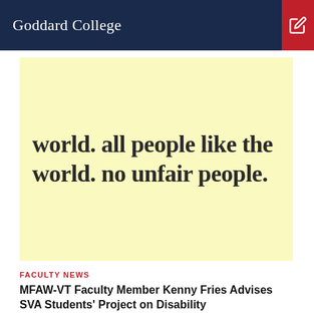Goddard College
[Figure (photo): Yellow sticky note with handwritten text reading: world. all people like the world. no unfair people.]
FACULTY NEWS
MFAW-VT Faculty Member Kenny Fries Advises SVA Students' Project on Disability
Disable the Stairs. Disable the Stares. Disable the Barriers. This summer MFAW-VT faculty member